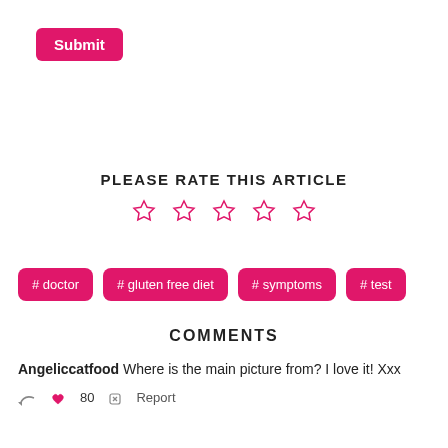Submit
PLEASE RATE THIS ARTICLE
[Figure (other): Five empty star rating icons in pink/rose color]
# doctor
# gluten free diet
# symptoms
# test
COMMENTS
Angeliccatfood Where is the main picture from? I love it! Xxx
80  Report